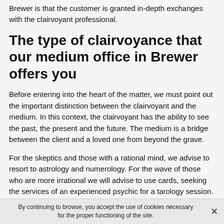Brewer is that the customer is granted in-depth exchanges with the clairvoyant professional.
The type of clairvoyance that our medium office in Brewer offers you
Before entering into the heart of the matter, we must point out the important distinction between the clairvoyant and the medium. In this context, the clairvoyant has the ability to see the past, the present and the future. The medium is a bridge between the client and a loved one from beyond the grave.
For the skeptics and those with a rational mind, we advise to resort to astrology and numerology. For the wave of those who are more irrational we will advise to use cards, seeking the services of an experienced psychic for a tarology session.
By continuing to browse, you accept the use of cookies necessary for the proper functioning of the site.